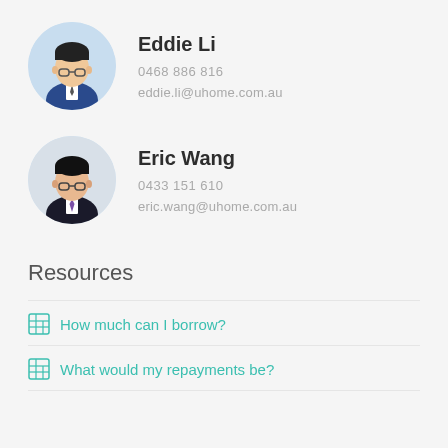[Figure (photo): Circular headshot of Eddie Li, man in blue suit with glasses]
Eddie Li
0468 886 816
eddie.li@uhome.com.au
[Figure (photo): Circular headshot of Eric Wang, man in dark suit with glasses and purple tie]
Eric Wang
0433 151 610
eric.wang@uhome.com.au
Resources
How much can I borrow?
What would my repayments be?